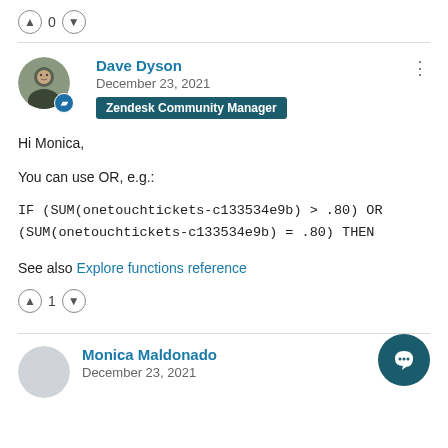↑ 0 ↓
Dave Dyson
December 23, 2021
Zendesk Community Manager
Hi Monica,
You can use OR, e.g.:
IF (SUM(onetouchtickets-c133534e9b) > .80) OR (SUM(onetouchtickets-c133534e9b) = .80) THEN
See also Explore functions reference
↑ 1 ↓
Monica Maldonado
December 23, 2021